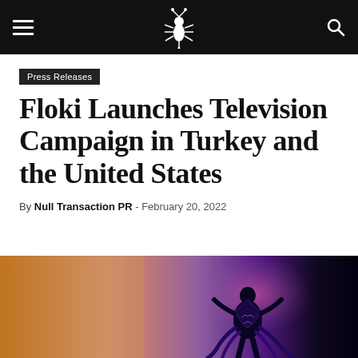Null Transaction PR — website navigation header with logo, hamburger menu and search icon
Press Releases
Floki Launches Television Campaign in Turkey and the United States
By Null Transaction PR - February 20, 2022
[Figure (illustration): Hero image showing a fantasy/gaming scene with warm orange tones on the left side and a dark purple/cosmic background on the right, featuring a stylized viking or warrior figure with ornate armour and cosmic elements.]